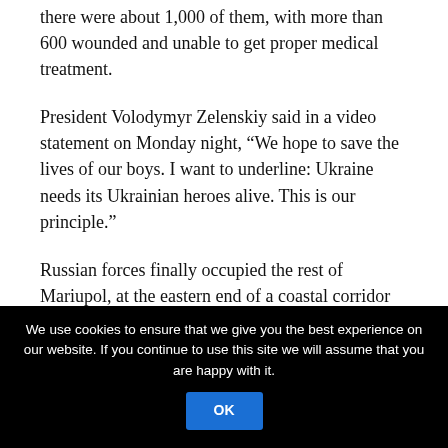there were about 1,000 of them, with more than 600 wounded and unable to get proper medical treatment.
President Volodymyr Zelenskiy said in a video statement on Monday night, “We hope to save the lives of our boys. I want to underline: Ukraine needs its Ukrainian heroes alive. This is our principle.”
Russian forces finally occupied the rest of Mariupol, at the eastern end of a coastal corridor along the Black Sea and Sea of Azov, earlier this month. But the fighters and about sheltering civilians remained.
We use cookies to ensure that we give you the best experience on our website. If you continue to use this site we will assume that you are happy with it.